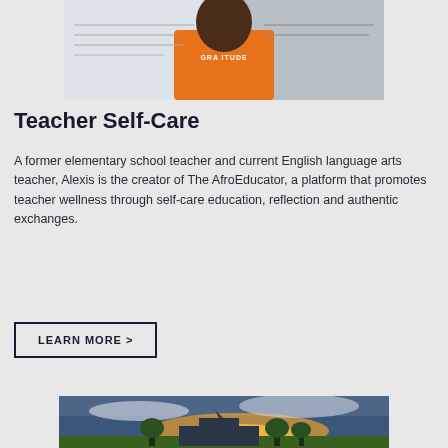[Figure (photo): Person wearing an orange 'GRATITUDE' t-shirt standing in front of a whiteboard]
Teacher Self-Care
A former elementary school teacher and current English language arts teacher, Alexis is the creator of The AfroEducator, a platform that promotes teacher wellness through self-care education, reflection and authentic exchanges.
LEARN MORE >
[Figure (photo): Outdoor scenic photo of a building with a dramatic sunset sky and green landscape]